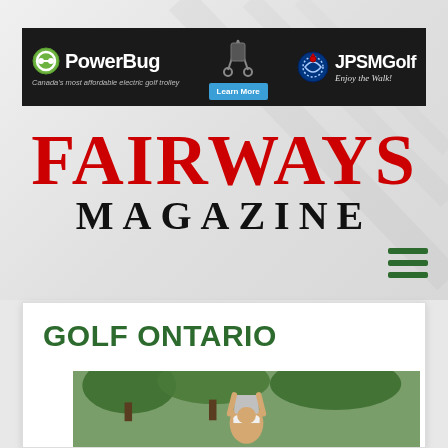[Figure (screenshot): Banner advertisement for PowerBug electric golf trolley and JPSMGolf]
FAIRWAYS MAGAZINE
[Figure (illustration): Hamburger menu icon (three horizontal green lines)]
GOLF ONTARIO
[Figure (photo): Golfer holding up a trophy above their head, wearing a white Nike visor, with trees in the background]